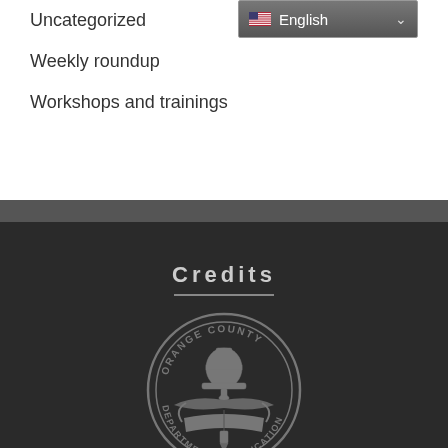Uncategorized
Weekly roundup
Workshops and trainings
[Figure (other): English language selector dropdown with US flag icon]
Credits
[Figure (logo): Orange County Department of Education circular seal/logo in gray on dark background]